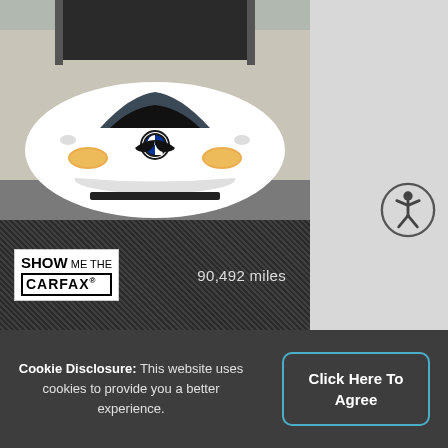[Figure (photo): Front view of a white BMW convertible parked in a lot with a dark carbon-fiber-textured overlay at the bottom showing CARFAX logo and mileage.]
90,492 miles
Cookie Disclosure: This website uses cookies to provide you a better experience.
Click Here To Agree